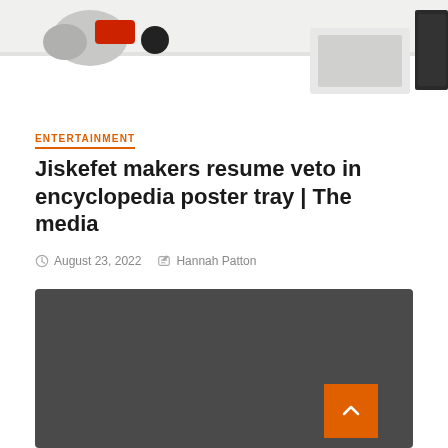[Figure (photo): Partial photo showing shoes and desk items on a white surface, cropped at top of page]
ENTERTAINMENT
Jiskefet makers resume veto in encyclopedia poster tray | The media
August 23, 2022  Hannah Patton
[Figure (other): Dark gray block with '1 min read' badge and an orange back-to-top arrow button in the bottom right corner]